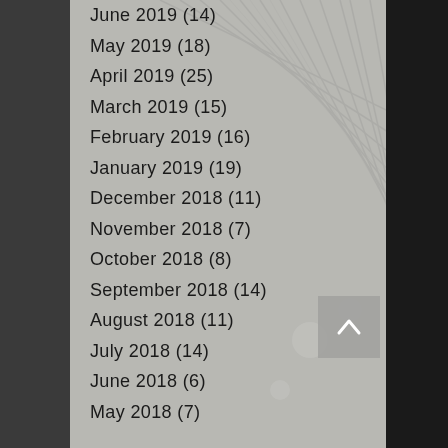June 2019 (14)
May 2019 (18)
April 2019 (25)
March 2019 (15)
February 2019 (16)
January 2019 (19)
December 2018 (11)
November 2018 (7)
October 2018 (8)
September 2018 (14)
August 2018 (11)
July 2018 (14)
June 2018 (6)
May 2018 (7)